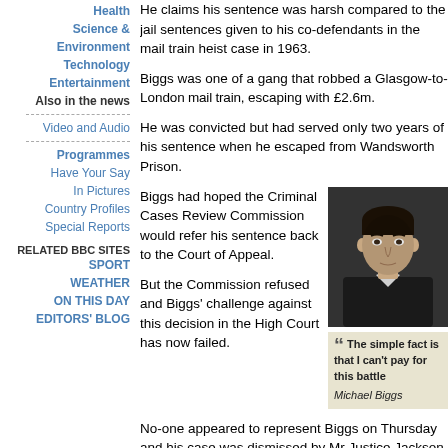Health
Science & Environment
Technology
Entertainment
Also in the news
Video and Audio
Programmes
Have Your Say
In Pictures
Country Profiles
Special Reports
RELATED BBC SITES
SPORT
WEATHER
ON THIS DAY
EDITORS' BLOG
He claims his sentence was harsh compared to the jail sentences given to his co-defendants in the mail train heist case in 1963.
Biggs was one of a gang that robbed a Glasgow-to-London mail train, escaping with £2.6m.
He was convicted but had served only two years of his sentence when he escaped from Wandsworth Prison.
Biggs had hoped the Criminal Cases Review Commission would refer his sentence back to the Court of Appeal.
But the Commission refused and Biggs' challenge against this decision in the High Court has now failed.
[Figure (photo): Portrait photo of Michael Biggs, a dark-haired man in a suit]
"The simple fa[ct is that I can't] pay for this battle" Michael Biggs
No-one appeared to represent Biggs on Thursday and his case was dismissed by Mr Justice Jackson and Mr Justice Silber.
But his son Michael said his father's lawyers were now preparing an application to the European Court of Human Rights.
"The simple fact is that I can't pay for this battle."
He said there had been a delay of more than a year with his legal aid application with no decision yet made by the L[egal Services Commission]